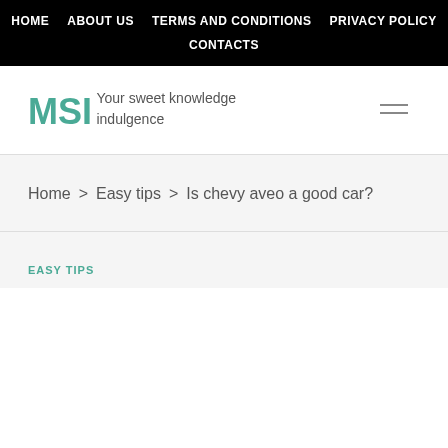HOME  ABOUT US  TERMS AND CONDITIONS  PRIVACY POLICY  CONTACTS
MSI
Your sweet knowledge indulgence
Home > Easy tips > Is chevy aveo a good car?
EASY TIPS